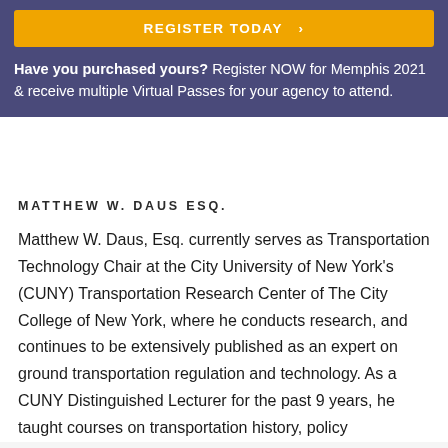[Figure (other): Yellow 'REGISTER TODAY >' button on purple/navy banner background]
Have you purchased yours? Register NOW for Memphis 2021 & receive multiple Virtual Passes for your agency to attend.
MATTHEW W. DAUS ESQ.
Matthew W. Daus, Esq. currently serves as Transportation Technology Chair at the City University of New York's (CUNY) Transportation Research Center of The City College of New York, where he conducts research, and continues to be extensively published as an expert on ground transportation regulation and technology. As a CUNY Distinguished Lecturer for the past 9 years, he taught courses on transportation history, policy